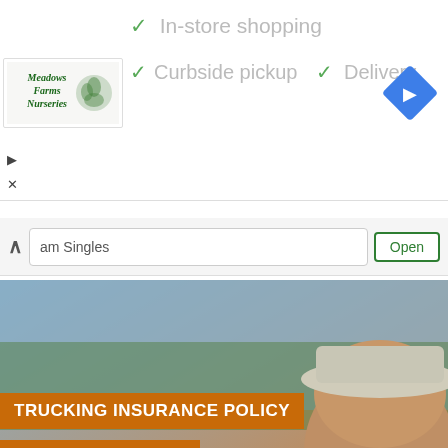[Figure (screenshot): Top ad banner showing store services: In-store shopping, Curbside pickup, Delivery with checkmarks; Meadows Farms Nurseries logo; blue diamond navigation icon]
[Figure (screenshot): Search bar with chevron up arrow, 'am Singles' text input, and green-bordered Open button]
[Figure (photo): Trucking insurance ad showing smiling man in trucker hat with trucks in background, orange banners reading TRUCKING INSURANCE POLICY and START YOUR QUOTE, black X close button]
mind at the
wise.
ines which man with
[Figure (infographic): Fast Trucking Insurance Quote ad with Q logo, text: Enjoy Great Insurance Coverage at Affordable Rates. Get a Free Insurance Quote Today!, blue arrow button]
the best
deterrent to racism or sexism. And that's how I operate